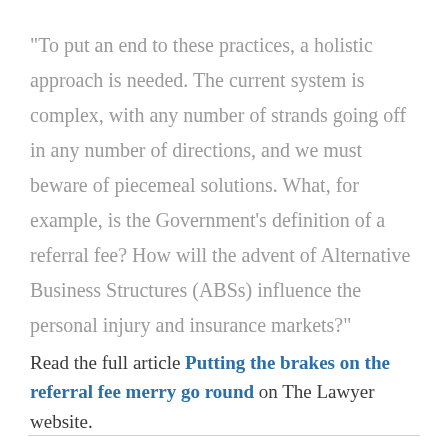"To put an end to these practices, a holistic approach is needed. The current system is complex, with any number of strands going off in any number of directions, and we must beware of piecemeal solutions. What, for example, is the Government's definition of a referral fee? How will the advent of Alternative Business Structures (ABSs) influence the personal injury and insurance markets?"
Read the full article Putting the brakes on the referral fee merry go round on The Lawyer website.